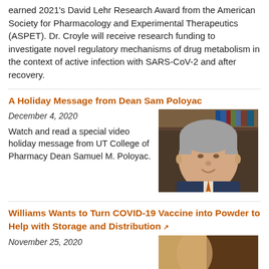earned 2021's David Lehr Research Award from the American Society for Pharmacology and Experimental Therapeutics (ASPET). Dr. Croyle will receive research funding to investigate novel regulatory mechanisms of drug metabolism in the context of active infection with SARS-CoV-2 and after recovery.
A Holiday Message from Dean Sam Poloyac
December 4, 2020
[Figure (photo): Headshot of Dean Samuel M. Poloyac, a middle-aged man with gray hair, wearing a suit with an orange tie, seated in front of bookshelves.]
Watch and read a special video holiday message from UT College of Pharmacy Dean Samuel M. Poloyac.
Williams Wants to Turn COVID-19 Vaccine into Powder to Help with Storage and Distribution
November 25, 2020
[Figure (photo): Partial photo at bottom right, brown tones, partially cut off.]